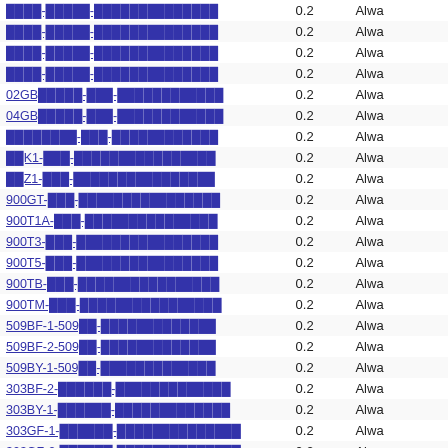| Link | Value | Status |
| --- | --- | --- |
| ████-█████-██████████████ | 0.2 | Alwa |
| ████-█████-██████████████ | 0.2 | Alwa |
| ████-█████-██████████████ | 0.2 | Alwa |
| ████-█████-██████████████ | 0.2 | Alwa |
| 02GB█████-███-████████████ | 0.2 | Alwa |
| 04GB█████-███-████████████ | 0.2 | Alwa |
| ████████-███-█████████████ | 0.2 | Alwa |
| ██K1-███-████████████████ | 0.2 | Alwa |
| ██Z1-███-████████████████ | 0.2 | Alwa |
| 900GT-███-████████████████ | 0.2 | Alwa |
| 900T1A-███-███████████████ | 0.2 | Alwa |
| 900T3-███-████████████████ | 0.2 | Alwa |
| 900T5-███-████████████████ | 0.2 | Alwa |
| 900TB-███-████████████████ | 0.2 | Alwa |
| 900TM-███-████████████████ | 0.2 | Alwa |
| 509BF-1-509██-█████████████ | 0.2 | Alwa |
| 509BF-2-509██-█████████████ | 0.2 | Alwa |
| 509BY-1-509██-█████████████ | 0.2 | Alwa |
| 303BF-2-██████-█████████████ | 0.2 | Alwa |
| 303BY-1-██████-█████████████ | 0.2 | Alwa |
| 303GF-1-██████-█████████████ | 0.2 | Alwa |
| 303GF-2-██████-█████████████ | 0.2 | Alwa |
| 303GY-1-██████-█████████████ | 0.2 | Alwa |